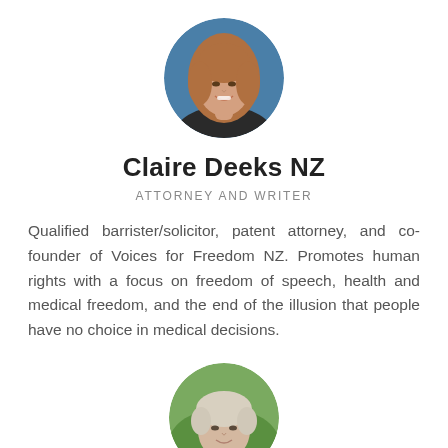[Figure (photo): Circular portrait photo of Claire Deeks NZ, a woman with long brown hair, smiling, wearing a dark jacket, against a blue background.]
Claire Deeks NZ
ATTORNEY AND WRITER
Qualified barrister/solicitor, patent attorney, and co-founder of Voices for Freedom NZ. Promotes human rights with a focus on freedom of speech, health and medical freedom, and the end of the illusion that people have no choice in medical decisions.
[Figure (photo): Circular portrait photo of a woman with short light/blonde hair, partially visible at the bottom of the page, outdoors with a green background.]